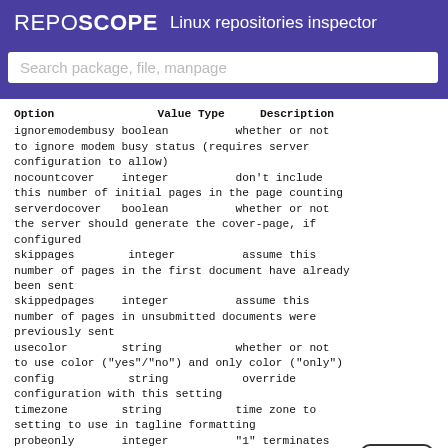REPOSCOPE  Linux repositories inspector
Search package, file, manpage
| Option | Value Type | Description |
| --- | --- | --- |
| ignoremodembusy | boolean | whether or not to ignore modem busy status (requires server configuration to allow) |
| nocountcover | integer | don't include this number of initial pages in the page counting |
| serverdocover | boolean | whether or not the server should generate the cover-page, if configured |
| skippages | integer | assume this number of pages in the first document have already been sent |
| skippedpages | integer | assume this number of pages in unsubmitted documents were previously sent |
| usecolor | string | whether or not to use color ("yes"/"no") and only color ("only") |
| config | string | override configuration with this setting |
| timezone | string | time zone to use in tagline formatting |
| probeonly | integer | "1" terminates once a fax call is established, "2" when handshaking received |